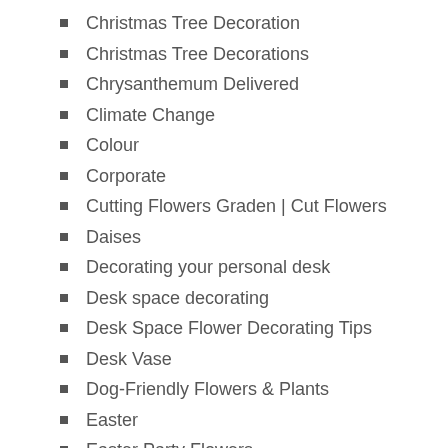Christmas Tree Decoration
Christmas Tree Decorations
Chrysanthemum Delivered
Climate Change
Colour
Corporate
Cutting Flowers Graden | Cut Flowers
Daises
Decorating your personal desk
Desk space decorating
Desk Space Flower Decorating Tips
Desk Vase
Dog-Friendly Flowers & Plants
Easter
Easter Party Flowers
Edible Flowers
En Francais